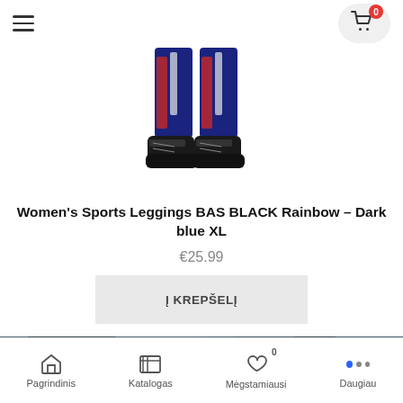[Figure (screenshot): E-commerce product page screenshot showing women's sports leggings, price, add-to-cart button, and bottom navigation bar]
Women's Sports Leggings BAS BLACK Rainbow – Dark blue XL
€25.99
Į KREPŠELĮ
Pagrindinis | Katalogas | Mėgstamiausi | Daugiau